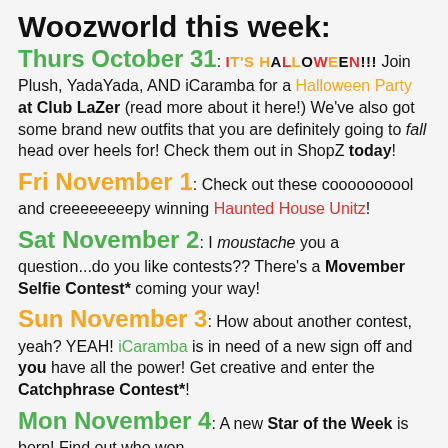Woozworld this week:
Thurs October 31: IT'S HALLOWEEN!!! Join Plush, YadaYada, AND iCaramba for a Halloween Party at Club LaZer (read more about it here!) We've also got some brand new outfits that you are definitely going to fall head over heels for! Check them out in ShopZ today!
Fri November 1: Check out these coooooooool and creeeeeeeepy winning Haunted House Unitz!
Sat November 2: I moustache you a question...do you like contests?? There's a Movember Selfie Contest* coming your way!
Sun November 3: How about another contest, yeah? YEAH! iCaramba is in need of a new sign off and you have all the power! Get creative and enter the Catchphrase Contest*!
Mon November 4: A new Star of the Week is born! Find out who won...